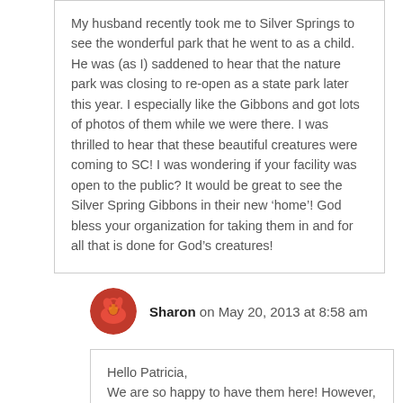My husband recently took me to Silver Springs to see the wonderful park that he went to as a child. He was (as I) saddened to hear that the nature park was closing to re-open as a state park later this year. I especially like the Gibbons and got lots of photos of them while we were there. I was thrilled to hear that these beautiful creatures were coming to SC! I was wondering if your facility was open to the public? It would be great to see the Silver Spring Gibbons in their new ‘home’! God bless your organization for taking them in and for all that is done for God’s creatures!
Sharon on May 20, 2013 at 8:58 am
Hello Patricia,
We are so happy to have them here! However, unlike Silver Springs, we are a sanctuary and so